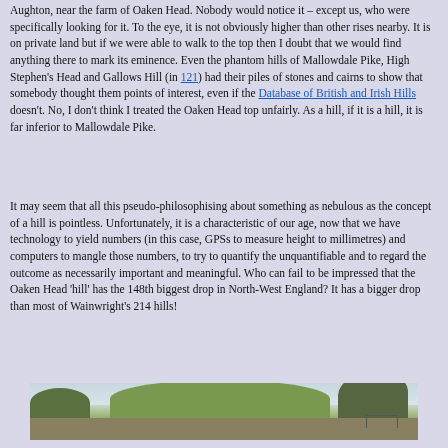Aughton, near the farm of Oaken Head. Nobody would notice it – except us, who were specifically looking for it. To the eye, it is not obviously higher than other rises nearby. It is on private land but if we were able to walk to the top then I doubt that we would find anything there to mark its eminence. Even the phantom hills of Mallowdale Pike, High Stephen's Head and Gallows Hill (in 121) had their piles of stones and cairns to show that somebody thought them points of interest, even if the Database of British and Irish Hills doesn't. No, I don't think I treated the Oaken Head top unfairly. As a hill, if it is a hill, it is far inferior to Mallowdale Pike.
It may seem that all this pseudo-philosophising about something as nebulous as the concept of a hill is pointless. Unfortunately, it is a characteristic of our age, now that we have technology to yield numbers (in this case, GPSs to measure height to millimetres) and computers to mangle those numbers, to try to quantify the unquantifiable and to regard the outcome as necessarily important and meaningful. Who can fail to be impressed that the Oaken Head 'hill' has the 148th biggest drop in North-West England? It has a bigger drop than most of Wainwright's 214 hills!
[Figure (photo): Panoramic landscape photo showing a broad, low grassy hill in the centre against a pale sky, with darker wooded hills on the right and flat farmland on the left.]